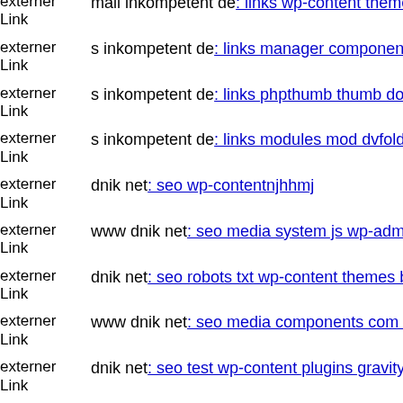externer Link  mail inkompetent de: links wp-content themes agency comp
externer Link  s inkompetent de: links manager components com foxconta
externer Link  s inkompetent de: links phpthumb thumb downloader dnik n
externer Link  s inkompetent de: links modules mod dvfoldercontent
externer Link  dnik net: seo wp-contentnjhhmj
externer Link  www dnik net: seo media system js wp-admin includes com
externer Link  dnik net: seo robots txt wp-content themes bloggie env
externer Link  www dnik net: seo media components com b2jcontact phpt
externer Link  dnik net: seo test wp-content plugins gravityforms change l
externer Link  www dnik net: seo administrator wp-content themes pinsho
externer Link  dnik net: seo media system js magmi web wp-content plugi
externer Link  dnik net: seo js webforms upload wp-content themes pinsho